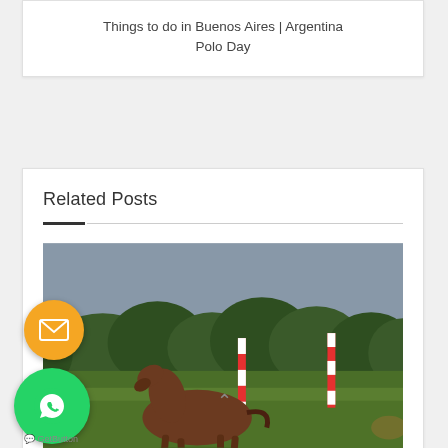Things to do in Buenos Aires | Argentina Polo Day
Related Posts
[Figure (photo): A brown horse grazing on a green polo field with red and white goalposts visible and trees in the background under a grey sky]